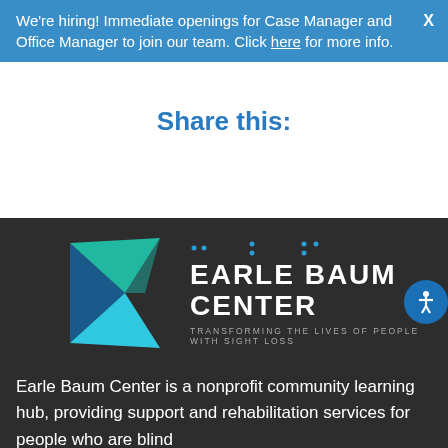We're hiring! Immediate openings for Case Manager and Office Manager to join our team. Click here for more info.
Share this:
[Figure (logo): Earle Baum Center logo with teal/blue arrow graphic and text 'EARLE BAUM CENTER — TRANSFORMING THE LIVES OF PEOPLE WITH SIGHT LOSS']
Earle Baum Center is a nonprofit community learning hub, providing support and rehabilitation services for people who are blind